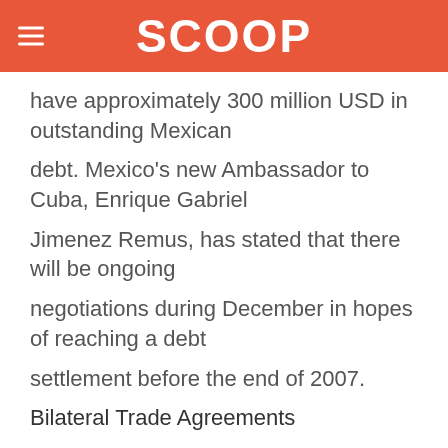SCOOP
have approximately 300 million USD in outstanding Mexican
debt. Mexico's new Ambassador to Cuba, Enrique Gabriel
Jimenez Remus, has stated that there will be ongoing
negotiations during December in hopes of reaching a debt
settlement before the end of 2007.
Bilateral Trade Agreements
---------------------------
3.(U) In July 2002 Mexico and Cuba entered into a
Complementary Economic Agreement (ACE-51). ACE's are similar